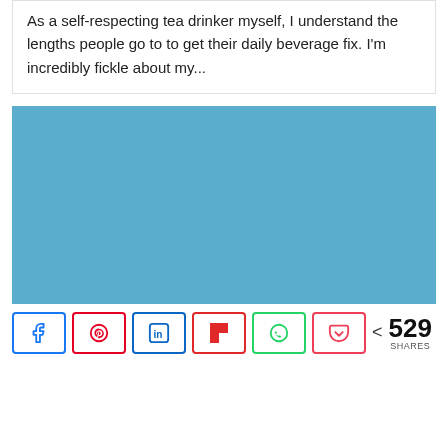As a self-respecting tea drinker myself, I understand the lengths people go to to get their daily beverage fix. I'm incredibly fickle about my...
[Figure (photo): Solid blue/teal colored rectangular image placeholder]
< 529 SHARES (social share buttons: Facebook, Pinterest, LinkedIn, Flipboard, WhatsApp, Pocket)